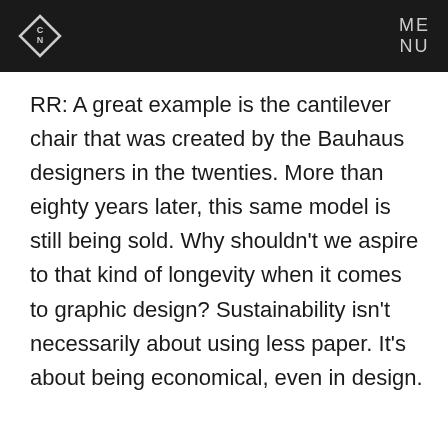CN | MENU
RR: A great example is the cantilever chair that was created by the Bauhaus designers in the twenties. More than eighty years later, this same model is still being sold. Why shouldn’t we aspire to that kind of longevity when it comes to graphic design? Sustainability isn’t necessarily about using less paper. It’s about being economical, even in design.